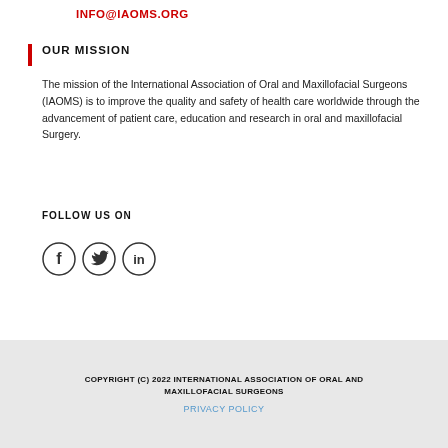INFO@IAOMS.ORG
OUR MISSION
The mission of the International Association of Oral and Maxillofacial Surgeons (IAOMS) is to improve the quality and safety of health care worldwide through the advancement of patient care, education and research in oral and maxillofacial Surgery.
FOLLOW US ON
[Figure (illustration): Three circular social media icons for Facebook, Twitter, and LinkedIn]
COPYRIGHT (C) 2022 INTERNATIONAL ASSOCIATION OF ORAL AND MAXILLOFACIAL SURGEONS
PRIVACY POLICY